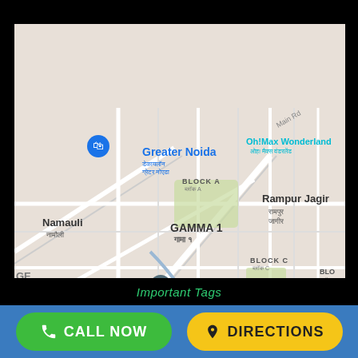[Figure (map): Google Maps screenshot showing Greater Noida area with labels: Greater Noida (Decathlon), Oh!Max Wonderland, Namauli, GAMMA 1, BLOCK A, BLOCK C, BLOCK D, Rampur Jagir, BETA I, IIMT College of Management, GL Bajaj Institute of Technology, Alpha 1 in Devanagari and English bilingual labels]
Important Tags
CALL NOW
DIRECTIONS